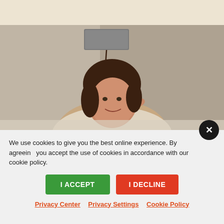[Figure (photo): A vintage photograph of a woman smiling, sitting low in what appears to be a bathtub or low furniture, against a textured light-colored wall with a wall-mounted device (possibly an intercom or speaker) and a cord hanging down.]
We use cookies to give you the best online experience. By agreeing you accept the use of cookies in accordance with our cookie policy.
I ACCEPT
I DECLINE
Privacy Center   Privacy Settings   Cookie Policy